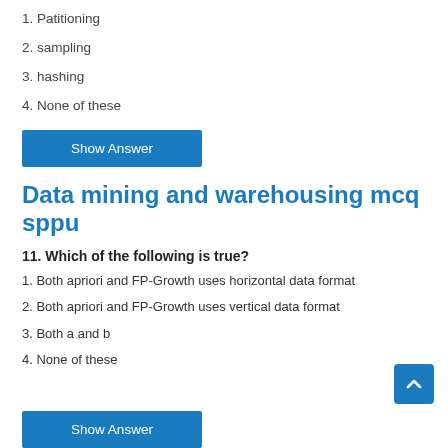1. Patitioning
2. sampling
3. hashing
4. None of these
Show Answer
Data mining and warehousing mcq sppu
11. Which of the following is true?
1. Both apriori and FP-Growth uses horizontal data format
2. Both apriori and FP-Growth uses vertical data format
3. Both a and b
4. None of these
Show Answer